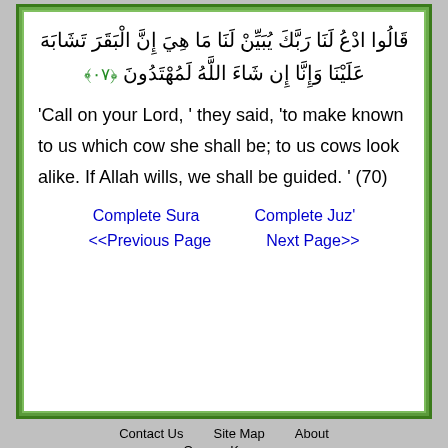قَالُوا ادْعُ لَنَا رَبَّكَ يُبَيِّنْ لَنَا مَا هِيَ إِنَّ الْبَقَرَ تَشَابَهَ عَلَيْنَا وَإِنَّا إِن شَاءَ اللَّهُ لَمُهْتَدُونَ ﴿٧٠﴾
'Call on your Lord, ' they said, 'to make known to us which cow she shall be; to us cows look alike. If Allah wills, we shall be guided. ' (70)
Complete Sura
Complete Juz'
<<Previous Page
Next Page>>
Contact Us   Site Map   About
Quran  Koran
ParsQuran.com